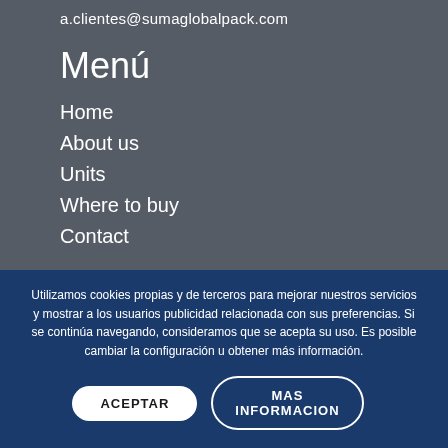a.clientes@sumaglobalpack.com
Menú
Home
About us
Units
Where to buy
Contact
Utilizamos cookies propias y de terceros para mejorar nuestros servicios y mostrar a los usuarios publicidad relacionada con sus preferencias. Si se continúa navegando, consideramos que se acepta su uso. Es posible cambiar la configuración u obtener más información.
ACEPTAR
MAS INFORMACION